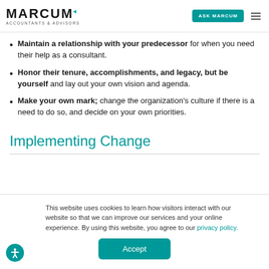MARCUM ACCOUNTANTS & ADVISORS | ASK MARCUM
Maintain a relationship with your predecessor for when you need their help as a consultant.
Honor their tenure, accomplishments, and legacy, but be yourself and lay out your own vision and agenda.
Make your own mark; change the organization's culture if there is a need to do so, and decide on your own priorities.
Implementing Change
This website uses cookies to learn how visitors interact with our website so that we can improve our services and your online experience. By using this website, you agree to our privacy policy.